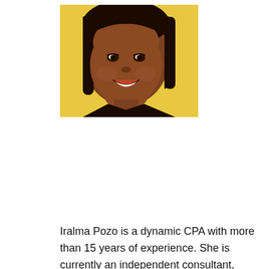[Figure (photo): Portrait photo of Iralma Pozo, a smiling woman with dark hair, against a yellow background.]
Iralma Pozo is a dynamic CPA with more than 15 years of experience. She is currently an independent consultant, educator and motivator